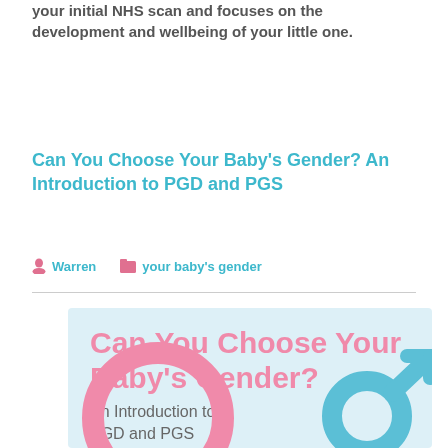your initial NHS scan and focuses on the development and wellbeing of your little one.
Can You Choose Your Baby's Gender? An Introduction to PGD and PGS
Warren   your baby's gender
[Figure (infographic): Light blue infographic with pink bold title 'Can You Choose Your Baby's Gender?' and subtitle 'An Introduction to PGD and PGS', with pink female and blue male gender symbols at bottom right]